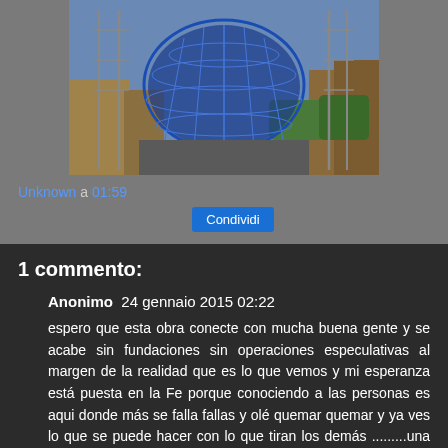[Figure (photo): Aerial view of a large blue dome-shaped structure under construction, with steel framework visible, surrounded by urban buildings and cranes.]
Unknown a 01:59
Condividi
1 commento:
Anonimo  24 gennaio 2015 02:22
espero que esta obra conecte con mucha buena gente y se acabe sin fundaciones sin operaciones especulativas al margen de la realidad que es lo que vemos y mi esperanza está puesta en la Fe porque conociendo a las personas es aqui donde más se falla fallas y olé quemar quemar y ya ves lo que se puede hacer con lo que tiran los demás .........una catedral.......